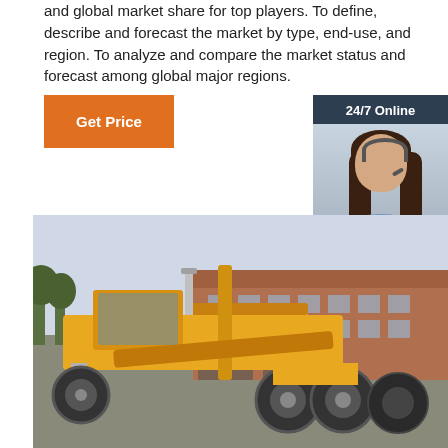and global market share for top players. To define, describe and forecast the market by type, end-use, and region. To analyze and compare the market status and forecast among global major regions.
[Figure (other): Orange 'Get Price' button]
[Figure (infographic): 24/7 Online chat widget with photo of woman wearing headset, 'Click here for free chat!' text, and orange QUOTATION button]
[Figure (photo): Yellow road grader / motor grader construction machine parked in front of a brick industrial building]